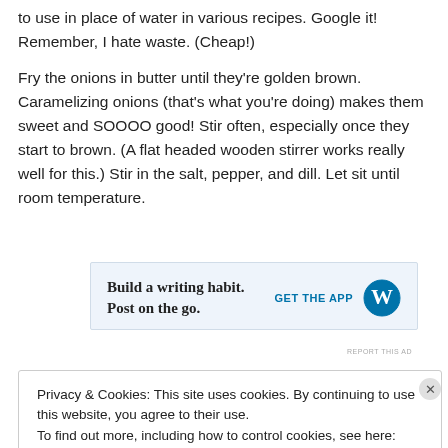to use in place of water in various recipes. Google it! Remember, I hate waste. (Cheap!)
Fry the onions in butter until they're golden brown. Caramelizing onions (that's what you're doing) makes them sweet and SOOOO good! Stir often, especially once they start to brown. (A flat headed wooden stirrer works really well for this.) Stir in the salt, pepper, and dill. Let sit until room temperature.
[Figure (other): WordPress advertisement banner: 'Build a writing habit. Post on the go.' with GET THE APP button and WordPress logo]
REPORT THIS AD
Privacy & Cookies: This site uses cookies. By continuing to use this website, you agree to their use.
To find out more, including how to control cookies, see here: Cookie Policy
Close and accept